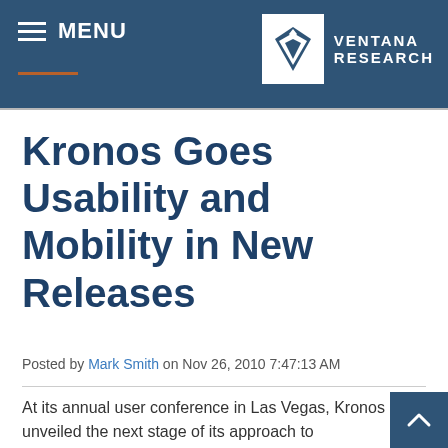MENU | VENTANA RESEARCH
Kronos Goes Usability and Mobility in New Releases
Posted by Mark Smith on Nov 26, 2010 7:47:13 AM
At its annual user conference in Las Vegas, Kronos unveiled the next stage of its approach to